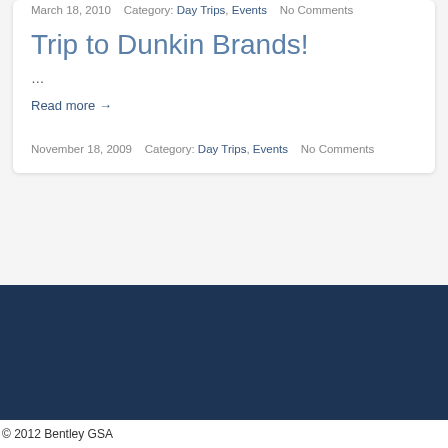March 18, 2010   Category: Day Trips, Events   No Comments
Trip to Dunkin Brands!
...
Read more →
November 18, 2009   Category: Day Trips, Events   No Comments
© 2012 Bentley GSA